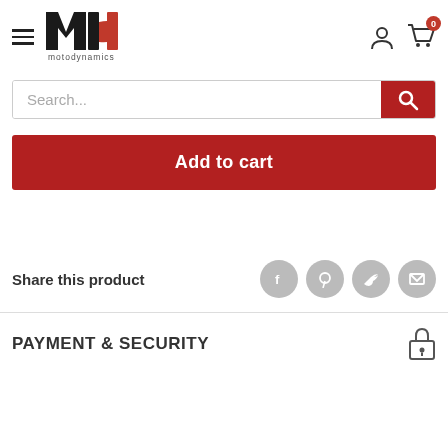[Figure (logo): Motodynamics logo with stylized 'md' letters in black and red, with 'motodynamics' text below]
Search...
Add to cart
Share this product
PAYMENT & SECURITY